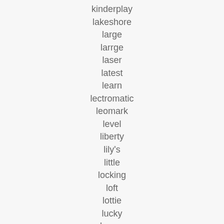kinderplay
lakeshore
large
larrge
laser
latest
learn
lectromatic
leomark
level
liberty
lily's
little
locking
loft
lottie
lucky
luxury
made
magic
magnificent